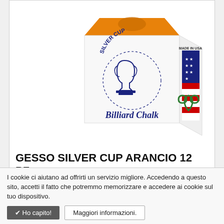[Figure (photo): Product photo of a Silver Cup Billiard Chalk box in orange color, showing front face with trophy logo and 'SILVER CUP Billiard Chalk' text, and right face with USA flag design and 'MADE IN USA Macon, Georgia' text. A green recycling/brand logo appears bottom right.]
GESSO SILVER CUP ARANCIO 12 PZ.
Art. 7508
I cookie ci aiutano ad offrirti un servizio migliore. Accedendo a questo sito, accetti il fatto che potremmo memorizzare e accedere ai cookie sul tuo dispositivo.
✔ Ho capito!
Maggiori informazioni.